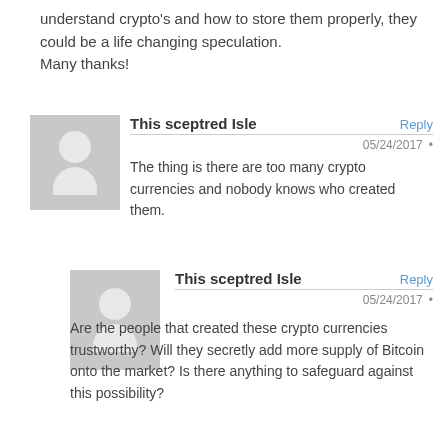understand crypto's and how to store them properly, they could be a life changing speculation.
Many thanks!
This sceptred Isle
Reply
05/24/2017
The thing is there are too many crypto currencies and nobody knows who created them.
This sceptred Isle
Reply
05/24/2017
Are the people that created these crypto currencies trustworthy? Will they secretly add more supply of Bitcoin onto the market? Is there anything to safeguard against this possibility?